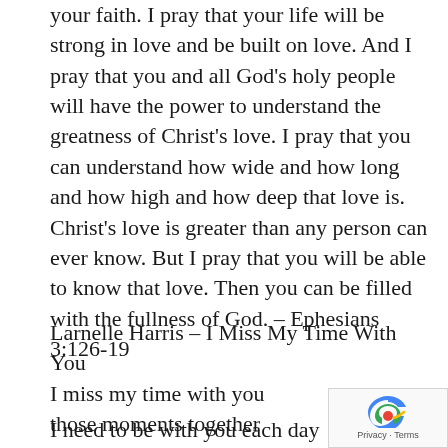your faith. I pray that your life will be strong in love and be built on love. And I pray that you and all God's holy people will have the power to understand the greatness of Christ's love. I pray that you can understand how wide and how long and how high and how deep that love is. Christ's love is greater than any person can ever know. But I pray that you will be able to know that love. Then you can be filled with the fullness of God. – Ephesians 3:126-19
Larnelle Harris – I Miss My Time With You
I miss my time with you
those moments together
I need to be with you each day